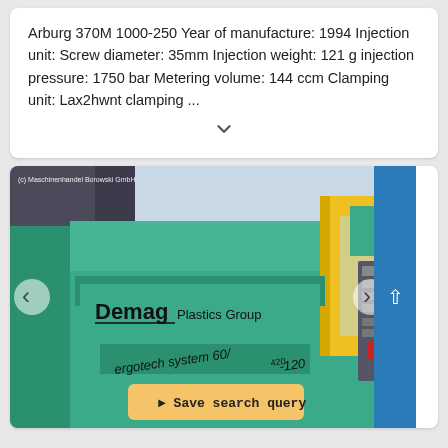Arburg 370M 1000-250 Year of manufacture: 1994 Injection unit: Screw diameter: 35mm Injection weight: 121 g injection pressure: 1750 bar Metering volume: 144 ccm Clamping unit: Lax2hwnt clamping ...
[Figure (photo): Photo of a Demag Plastics Group ergotech system 60/420-120 injection molding machine in teal/green color with yellow safety guard, shown in an industrial setting. Overlaid watermark reads '(c) Maschinenhandel Borowski GmbH'. Navigation arrows on left and right sides. A 'Save search query' button overlaid at the bottom center. A blue scroll-up button on the far right.]